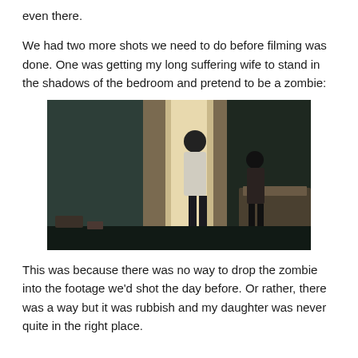even there.
We had two more shots we need to do before filming was done. One was getting my long suffering wife to stand in the shadows of the bedroom and pretend to be a zombie:
[Figure (photo): Dark bedroom photo showing two silhouetted figures standing near a window with curtains. Light comes through the window behind them. A bed is visible on the right side.]
This was because there was no way to drop the zombie into the footage we'd shot the day before. Or rather, there was a way but it was rubbish and my daughter was never quite in the right place.